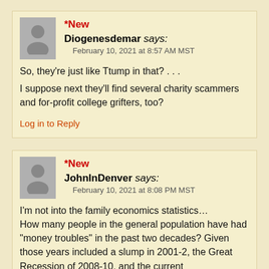*New
Diogenesdemar says: February 10, 2021 at 8:57 AM MST
So, they're just like Ttump in that? . . . I suppose next they'll find several charity scammers and for-profit college grifters, too?
Log in to Reply
*New
JohnInDenver says: February 10, 2021 at 8:08 PM MST
I'm not into the family economics statistics… How many people in the general population have had "money troubles" in the past two decades? Given those years included a slump in 2001-2, the Great Recession of 2008-10, and the current